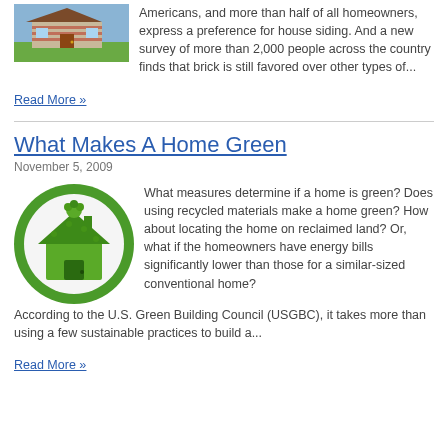[Figure (photo): Photo of a house with brick siding and green lawn]
Americans, and more than half of all homeowners, express a preference for house siding. And a new survey of more than 2,000 people across the country finds that brick is still favored over other types of...
Read More »
What Makes A Home Green
November 5, 2009
[Figure (photo): Illustration of a small house made of green grass/moss on a white circular background with green surround]
What measures determine if a home is green? Does using recycled materials make a home green? How about locating the home on reclaimed land? Or, what if the homeowners have energy bills significantly lower than those for a similar-sized conventional home?According to the U.S. Green Building Council (USGBC), it takes more than using a few sustainable practices to build a...
Read More »